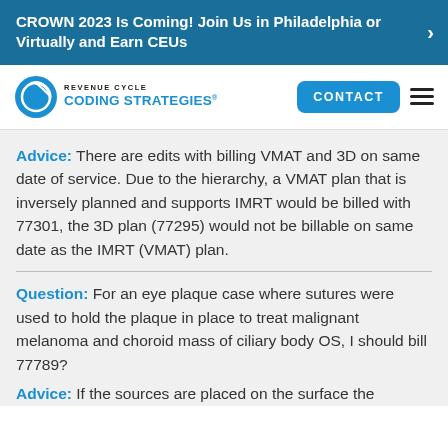CROWN 2023 Is Coming! Join Us in Philadelphia or Virtually and Earn CEUs
[Figure (logo): Revenue Cycle Coding Strategies logo with circular icon]
Advice: There are edits with billing VMAT and 3D on same date of service. Due to the hierarchy, a VMAT plan that is inversely planned and supports IMRT would be billed with 77301, the 3D plan (77295) would not be billable on same date as the IMRT (VMAT) plan.
Question: For an eye plaque case where sutures were used to hold the plaque in place to treat malignant melanoma and choroid mass of ciliary body OS, I should bill 77789?
Advice: If the sources are placed on the surface the